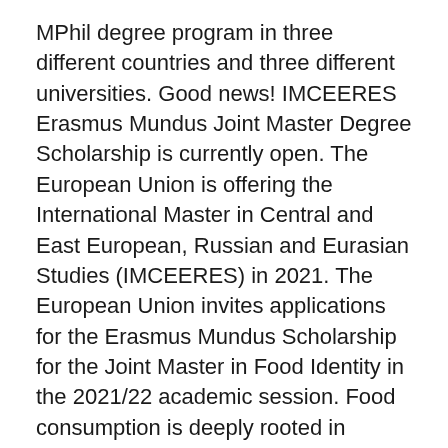MPhil degree program in three different countries and three different universities. Good news! IMCEERES Erasmus Mundus Joint Master Degree Scholarship is currently open. The European Union is offering the International Master in Central and East European, Russian and Eurasian Studies (IMCEERES) in 2021. The European Union invites applications for the Erasmus Mundus Scholarship for the Joint Master in Food Identity in the 2021/22 academic session. Food consumption is deeply rooted in culture and emotion. Eating is a vital need as it is a means of social integration, a source of pleasure and a reflection of convictions and self-image.
Applications to the scholarship competition for entry in September 2021 are now for applicants